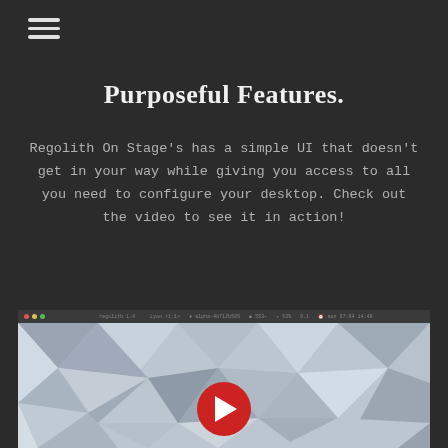[Figure (other): Hamburger menu icon (three horizontal lines) in top-left corner]
Purposeful Features.
Regolith On Stage's has a simple UI that doesn't get in your way while giving you access to all you need to configure your desktop. Check out the video to see it in action!
[Figure (screenshot): Screenshot of Regolith desktop application showing a geometric low-poly wallpaper with triangular shapes in grey/white tones, with a dark titlebar at the top and a red YouTube-style play button overlay in the center]